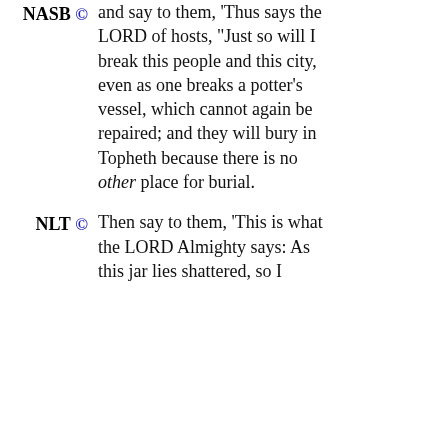NASB © and say to them, 'Thus says the LORD of hosts, "Just so will I break this people and this city, even as one breaks a potter's vessel, which cannot again be repaired; and they will bury in Topheth because there is no other place for burial.
NLT © Then say to them, 'This is what the LORD Almighty says: As this jar lies shattered, so I